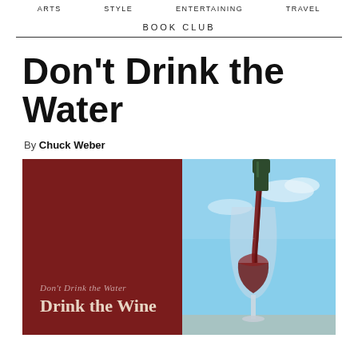ARTS  STYLE  ENTERTAINING  TRAVEL
BOOK CLUB
Don't Drink the Water
By Chuck Weber
[Figure (photo): Book cover and photo composite: Left side shows a dark red book cover with italic text 'Don't Drink the Water' and bold text 'Drink the Wine'. Right side shows a wine bottle pouring red wine into a tulip glass against a blue sky background.]